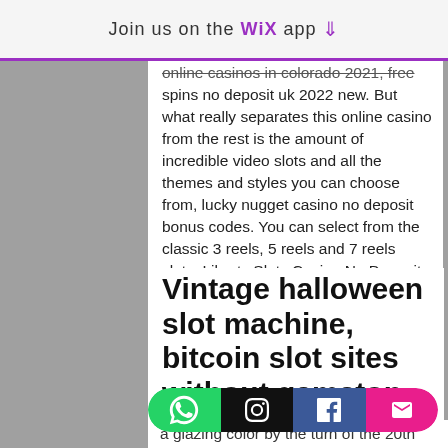Join us on the WiX app
online casinos in colorado 2021, free spins no deposit uk 2022 new. But what really separates this online casino from the rest is the amount of incredible video slots and all the themes and styles you can choose from, lucky nugget casino no deposit bonus codes. You can select from the classic 3 reels, 5 reels and 7 reels slots. Liberty Slots Casino No Deposit Bonus. Allowed games : all casino games, deuces wild casino game.
Vintage halloween slot machine, bitcoin slot sites without gamstop
Rivers casino poker schedule we also
[Figure (infographic): Social media share bar with four buttons: WhatsApp (green), Instagram (black), Facebook (blue), Email (pink/magenta)]
a glazing color by the turn of the 20th